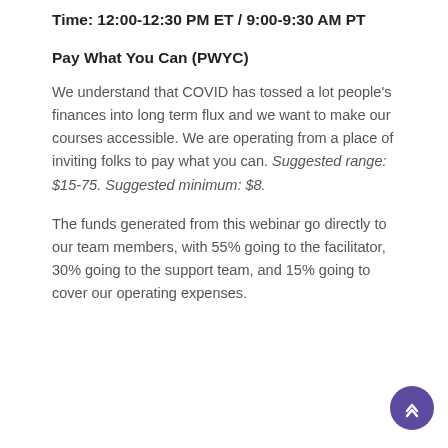Time: 12:00-12:30 PM ET / 9:00-9:30 AM PT
Pay What You Can (PWYC)
We understand that COVID has tossed a lot people's finances into long term flux and we want to make our courses accessible. We are operating from a place of inviting folks to pay what you can. Suggested range: $15-75. Suggested minimum: $8.
The funds generated from this webinar go directly to our team members, with 55% going to the facilitator, 30% going to the support team, and 15% going to cover our operating expenses.